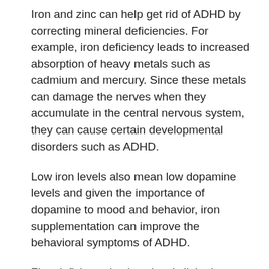Iron and zinc can help get rid of ADHD by correcting mineral deficiencies. For example, iron deficiency leads to increased absorption of heavy metals such as cadmium and mercury. Since these metals can damage the nerves when they accumulate in the central nervous system, they can cause certain developmental disorders such as ADHD.
Low iron levels also mean low dopamine levels and given the importance of dopamine to mood and behavior, iron supplementation can improve the behavioral symptoms of ADHD.
Zinc deficiency is also closely linked to ADHD. Numerous studies have found that some ADHD patients are also zinc deficient, and that zinc supplementation can help improve the symptoms of ADHD. More specifically, zinc supplementation